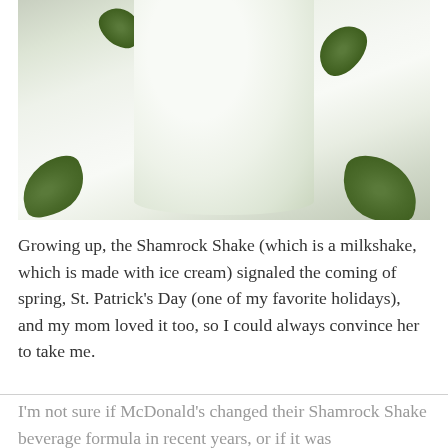[Figure (photo): Close-up photo of a green milkshake in a glass jar with green mint or shamrock leaves around it, on a light background]
Growing up, the Shamrock Shake (which is a milkshake, which is made with ice cream) signaled the coming of spring, St. Patrick's Day (one of my favorite holidays), and my mom loved it too, so I could always convince her to take me.
I'm not sure if McDonald's changed their Shamrock Shake beverage formula in recent years, or if it was